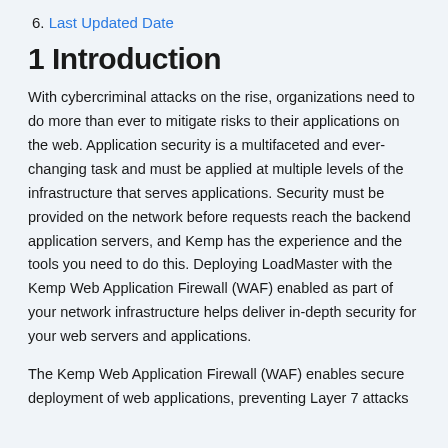6. Last Updated Date
1 Introduction
With cybercriminal attacks on the rise, organizations need to do more than ever to mitigate risks to their applications on the web. Application security is a multifaceted and ever-changing task and must be applied at multiple levels of the infrastructure that serves applications. Security must be provided on the network before requests reach the backend application servers, and Kemp has the experience and the tools you need to do this. Deploying LoadMaster with the Kemp Web Application Firewall (WAF) enabled as part of your network infrastructure helps deliver in-depth security for your web servers and applications.
The Kemp Web Application Firewall (WAF) enables secure deployment of web applications, preventing Layer 7 attacks